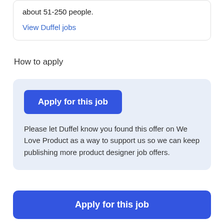about 51-250 people.
View Duffel jobs
How to apply
Apply for this job
Please let Duffel know you found this offer on We Love Product as a way to support us so we can keep publishing more product designer job offers.
Apply for this job